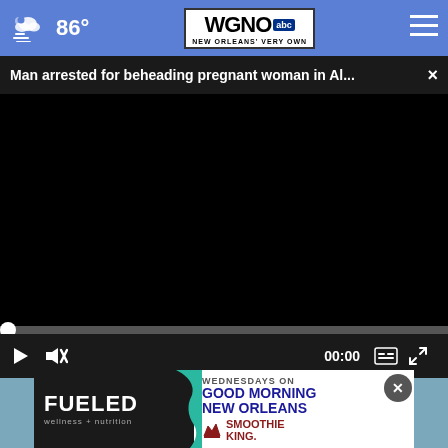86° WGNO abc NEW ORLEANS' VERY OWN
Man arrested for beheading pregnant woman in Al... ×
[Figure (screenshot): Black video player area with scrubber and controls showing 00:00]
[Figure (photo): Partial view of two people near a car, background of ad section]
[Figure (other): FUELED wellness + nutrition ad - WEDNESDAYS ON GOOD MORNING NEW ORLEANS SMOOTHIE KING]